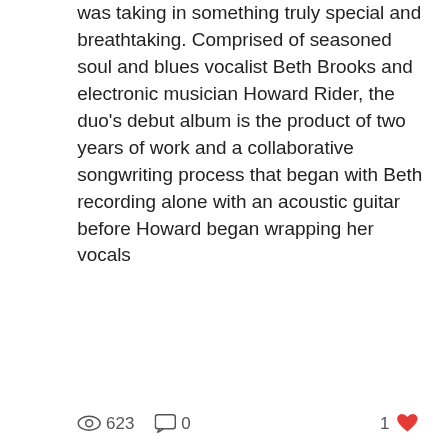was taking in something truly special and breathtaking. Comprised of seasoned soul and blues vocalist Beth Brooks and electronic musician Howard Rider, the duo's debut album is the product of two years of work and a collaborative songwriting process that began with Beth recording alone with an acoustic guitar before Howard began wrapping her vocals
623   0   1 ♥
[Figure (photo): Photo of two people (a man and a woman) in what appears to be a bar or music venue with warm lighting, an 'Open Mic Night' poster visible. A circular button with three dots (...) overlaid in lower right.]